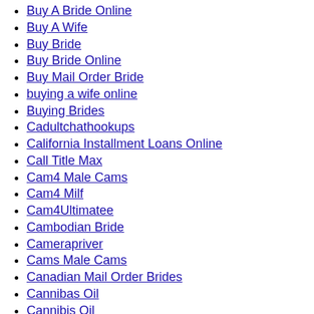Buy A Bride Online
Buy A Wife
Buy Bride
Buy Bride Online
Buy Mail Order Bride
buying a wife online
Buying Brides
Cadultchathookups
California Installment Loans Online
Call Title Max
Cam4 Male Cams
Cam4 Milf
Cam4Ultimatee
Cambodian Bride
Camerapriver
Cams Male Cams
Canadian Mail Order Brides
Cannibas Oil
Cannibis Oil
Capstone Project
Cash Advance Colorado
Cash Advance Illinois
Cash Advance Loan
Cash Advance Missouri
Cash Advance Near Me